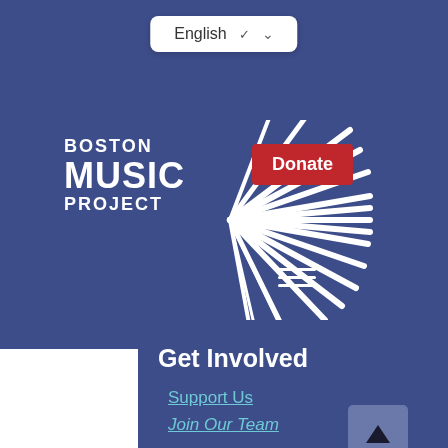[Figure (screenshot): Mobile website screenshot of Boston Music Project showing navigation menu with language selector, logo, donate button, hamburger menu, Get Involved section with Support Us and Join Our Team links, Search bar, GuideStar Platinum Transparency 2021 badge, and an orange chat/more button.]